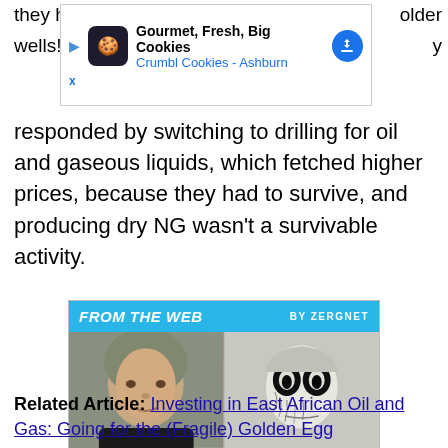they ha... older wells! W... y responded by switching to drilling for oil and gaseous liquids, which fetched higher prices, because they had to survive, and producing dry NG wasn't a survivable activity.
[Figure (screenshot): Advertisement banner: Gourmet, Fresh, Big Cookies - Crumbl Cookies - Ashburn]
[Figure (infographic): FROM THE WEB BY ZERGNET widget with two cards: 'The Tragedy Of Mark Ruffalo Just Gets Sadder And Sadder' and 'There Are Awful Ways To Die, Here's What Science Says Is Worst']
Related Article: Investing in East African Oil and Gas: Going for the (Fragile) Golden Egg